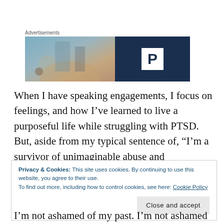[Figure (other): Advertisement banner with photo on left and dark navy background with white P logo on right. Label 'Advertisements' above.]
When I have speaking engagements, I focus on feelings, and how I've learned to live a purposeful life while struggling with PTSD. But, aside from my typical sentence of, “I’m a survivor of unimaginable abuse and
Privacy & Cookies: This site uses cookies. By continuing to use this website, you agree to their use.
To find out more, including how to control cookies, see here: Cookie Policy
Close and accept
I’m not ashamed of my past. I’m not ashamed of my